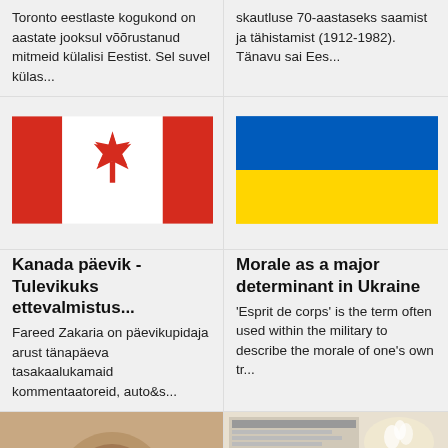Toronto eestlaste kogukond on aastate jooksul võõrustanud mitmeid külalisi Eestist. Sel suvel külas...
skautluse 70-aastaseks saamist ja tähistamist (1912-1982). Tänavu sai Ees...
[Figure (illustration): Canadian flag - red and white with maple leaf]
[Figure (illustration): Ukrainian flag - blue over yellow horizontal bands]
Kanada päevik - Tulevikuks ettevalmistus...
Morale as a major determinant in Ukraine
Fareed Zakaria on päevikupidaja arust tänapäeva tasakaalukamaid kommentaatoreid, auto&s...
'Esprit de corps' is the term often used within the military to describe the morale of one's own tr...
[Figure (photo): Partial thumbnail photo - person or object, cropped]
[Figure (photo): Partial thumbnail photo - newspaper or document with flowers]